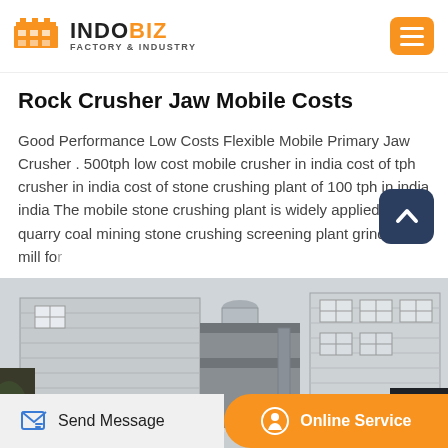INDOBIZ FACTORY & INDUSTRY
Rock Crusher Jaw Mobile Costs
Good Performance Low Costs Flexible Mobile Primary Jaw Crusher . 500tph low cost mobile crusher in india cost of tph crusher in india cost of stone crushing plant of 100 tph in india india The mobile stone crushing plant is widely applied in quarry coal mining stone crushing screening plant grinding mill for
[Figure (photo): Exterior photo of an industrial factory building with metal sidings, ventilation ducts, and industrial equipment in a monochrome/desaturated style.]
Send Message | Online Service